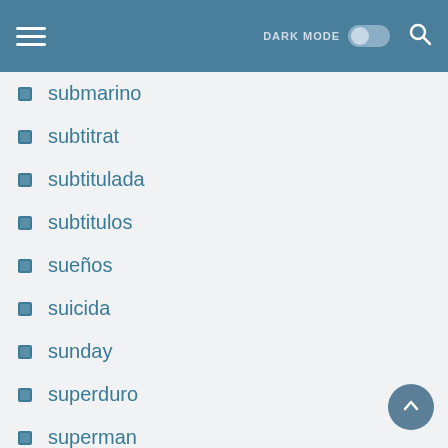DARK MODE [toggle] [search]
submarino
subtitrat
subtitulada
subtitulos
sueños
suicida
sunday
superduro
superman
Susan
tailgate
teaser